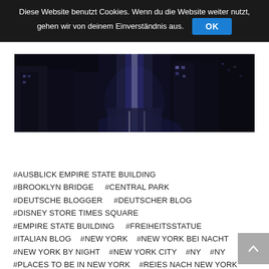Diese Website benutzt Cookies. Wenn du die Website weiter nutzt, gehen wir von deinem Einverständnis aus. OK
[Figure (photo): Aerial night view of New York City streets with illuminated buildings and traffic]
#AUSBLICK EMPIRE STATE BUILDING #BROOKLYN BRIDGE #CENTRAL PARK #DEUTSCHE BLOGGER #DEUTSCHER BLOG #DISNEY STORE TIMES SQUARE #EMPIRE STATE BUILDING #FREIHEITSSTATUE #ITALIAN BLOG #NEW YORK #NEW YORK BEI NACHT #NEW YORK BY NIGHT #NEW YORK CITY #NY #NY #PLACES TO BE IN NEW YORK #REIES NACH NEW YORK #REISEBLOG #REISEBLOGGER #RESTAURANTS NEW YORK #SIGHTSEEING NEW YORK